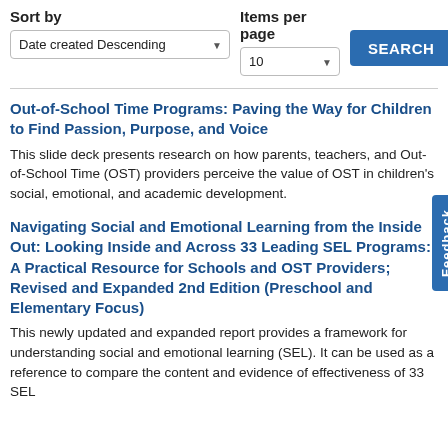Sort by
Items per page
Date created Descending
10
SEARCH
Out-of-School Time Programs: Paving the Way for Children to Find Passion, Purpose, and Voice
This slide deck presents research on how parents, teachers, and Out-of-School Time (OST) providers perceive the value of OST in children's social, emotional, and academic development.
Navigating Social and Emotional Learning from the Inside Out: Looking Inside and Across 33 Leading SEL Programs: A Practical Resource for Schools and OST Providers; Revised and Expanded 2nd Edition (Preschool and Elementary Focus)
This newly updated and expanded report provides a framework for understanding social and emotional learning (SEL). It can be used as a reference to compare the content and evidence of effectiveness of 33 SEL